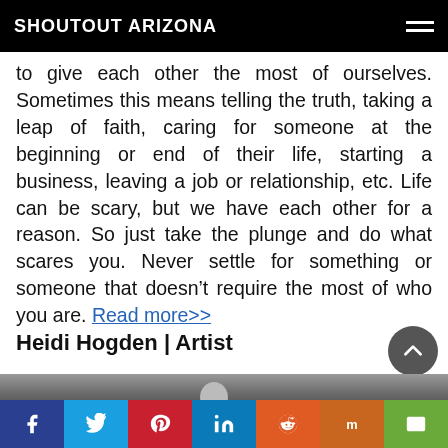SHOUTOUT ARIZONA
to give each other the most of ourselves. Sometimes this means telling the truth, taking a leap of faith, caring for someone at the beginning or end of their life, starting a business, leaving a job or relationship, etc. Life can be scary, but we have each other for a reason. So just take the plunge and do what scares you. Never settle for something or someone that doesn’t require the most of who you are. Read more>>
Heidi Hogden | Artist
[Figure (photo): Partial photo of Heidi Hogden, showing top of head area, cropped at bottom of page]
Social share bar: Facebook, Twitter, Pinterest, LinkedIn, Reddit, Mix, Email